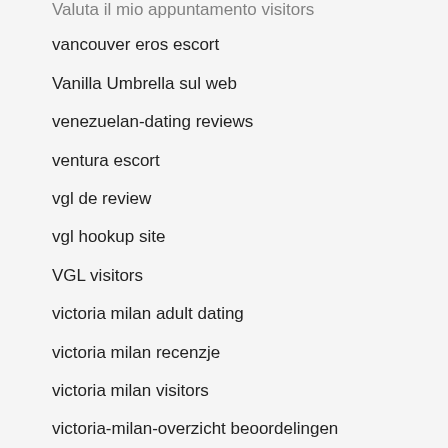Valuta il mio appuntamento visitors
vancouver eros escort
Vanilla Umbrella sul web
venezuelan-dating reviews
ventura escort
vgl de review
vgl hookup site
VGL visitors
victoria milan adult dating
victoria milan recenzje
victoria milan visitors
victoria-milan-overzicht beoordelingen